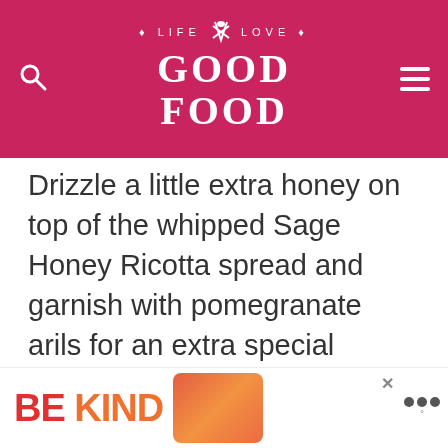LIFE LOVE GOOD FOOD
Drizzle a little extra honey on top of the whipped Sage Honey Ricotta spread and garnish with pomegranate arils for an extra special touch.
[Figure (photo): Food photography image placeholder (gray)]
[Figure (photo): Food photography image placeholder (gray)]
[Figure (other): What's Next panel: Slow Cooker Southwest...]
[Figure (other): Advertisement banner: BE KIND with brand logo]